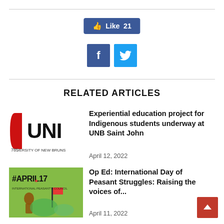[Figure (screenshot): Facebook Like button showing count of 21]
[Figure (screenshot): Social share icons: Facebook (dark blue) and Twitter (light blue)]
RELATED ARTICLES
[Figure (logo): University of New Brunswick (UNB) logo with red D shape and bold UNI text, '785' and 'VERSITY OF NEW BRUNS' text]
Experiential education project for Indigenous students underway at UNB Saint John
April 12, 2022
[Figure (illustration): #APRIL17 poster with peasant figures on green background]
Op Ed: International Day of Peasant Struggles: Raising the voices of...
April 11, 2022